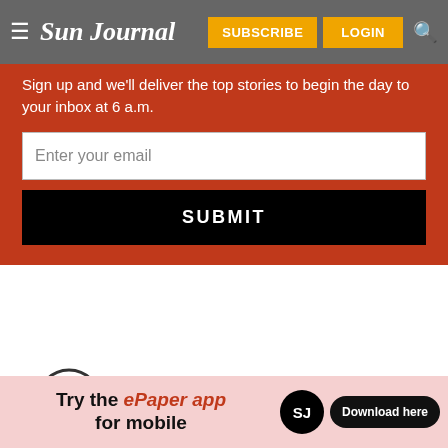≡ Sun Journal | SUBSCRIBE | LOGIN
Sign up and we'll deliver the top stories to begin the day to your inbox at 6 a.m.
[Figure (screenshot): Email signup form with text input field labeled 'Enter your email' and a black SUBMIT button, on a red background]
[Figure (other): Circular play button icon (white circle with dark border and right-pointing triangle)]
[Figure (infographic): Ad banner: 'Try the ePaper app for mobile' with SJ badge logo and 'Download here' button on pink background]